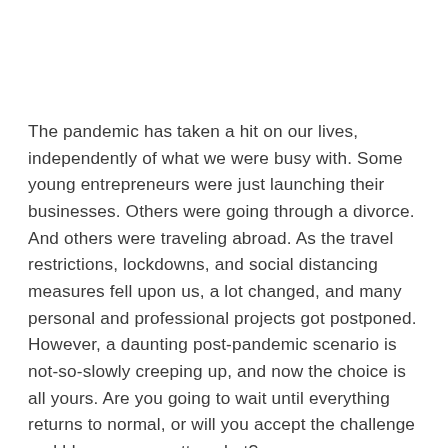The pandemic has taken a hit on our lives, independently of what we were busy with. Some young entrepreneurs were just launching their businesses. Others were going through a divorce. And others were traveling abroad. As the travel restrictions, lockdowns, and social distancing measures fell upon us, a lot changed, and many personal and professional projects got postponed. However, a daunting post-pandemic scenario is not-so-slowly creeping up, and now the choice is all yours. Are you going to wait until everything returns to normal, or will you accept the challenge and blossom no matter what?